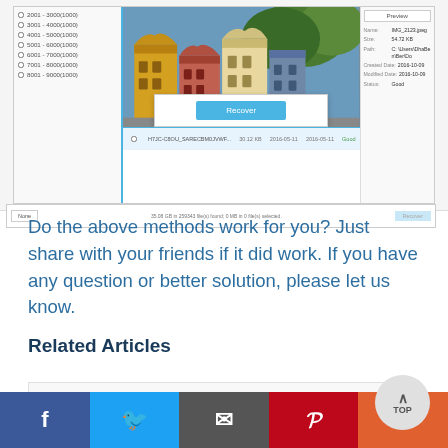[Figure (screenshot): Screenshot of a data recovery software interface showing file list panel on left with size ranges (2001-3000 to 8001-9000), center area with photo preview of colorful European buildings and a Recover dialog button, right panel showing file metadata (Preview, Name: IMG_2123.jpeg, Size: 54.72 KB, Path: C:\Users\..., Created Date: 2016-10-09, Modified Date: 2016-10-09, Status: Good), and bottom status bar showing 35.08 GB in 259343 file(s) found, 0 MB in 0 file(s) selected]
Do the above methods work for you? Just share with your friends if it did work. If you have any question or better solution, please let us know.
Related Articles
Fix Stella Phoenix Data Recovery Recovered...
[Figure (other): Social sharing bar with Facebook, Twitter, Email, Pinterest, and More (+) buttons]